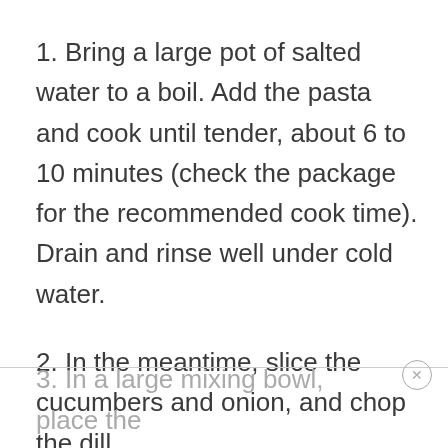1. Bring a large pot of salted water to a boil. Add the pasta and cook until tender, about 6 to 10 minutes (check the package for the recommended cook time). Drain and rinse well under cold water.
2. In the meantime, slice the cucumbers and onion, and chop the dill.
3. In a large mixing bowl, place the